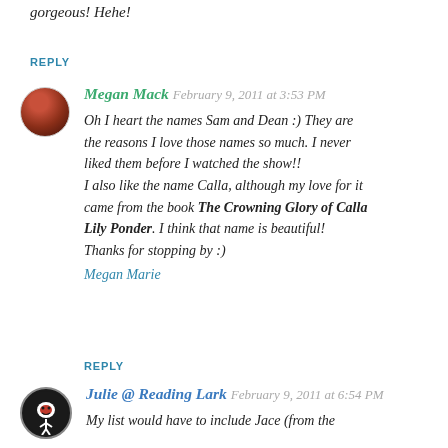gorgeous! Hehe!
REPLY
Megan Mack, February 9, 2011 at 3:53 PM
Oh I heart the names Sam and Dean :) They are the reasons I love those names so much. I never liked them before I watched the show!! I also like the name Calla, although my love for it came from the book The Crowning Glory of Calla Lily Ponder. I think that name is beautiful! Thanks for stopping by :)
Megan Marie
REPLY
Julie @ Reading Lark, February 9, 2011 at 6:54 PM
My list would have to include Jace (from the